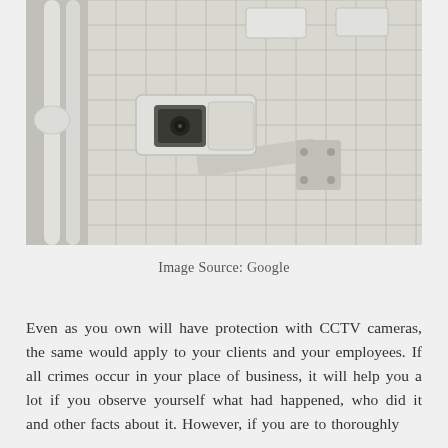[Figure (photo): A CCTV security camera mounted on a bracket attached to a white tiled wall, viewed from below at an angle. White pipes run along the wall behind the camera.]
Image Source: Google
Even as you own will have protection with CCTV cameras, the same would apply to your clients and your employees. If all crimes occur in your place of business, it will help you a lot if you observe yourself what had happened, who did it and other facts about it. However, if you are to thoroughly